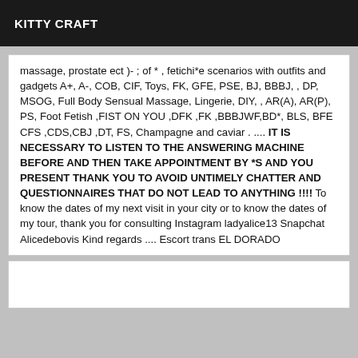KITTY CRAFT
massage, prostate ect )- ; of * , fetichi*e scenarios with outfits and gadgets A+, A-, COB, CIF, Toys, FK, GFE, PSE, BJ, BBBJ, , DP, MSOG, Full Body Sensual Massage, Lingerie, DIY, , AR(A), AR(P), PS, Foot Fetish ,FIST ON YOU ,DFK ,FK ,BBBJWF,BD*, BLS, BFE CFS ,CDS,CBJ ,DT, FS, Champagne and caviar . .... IT IS NECESSARY TO LISTEN TO THE ANSWERING MACHINE BEFORE AND THEN TAKE APPOINTMENT BY *S AND YOU PRESENT THANK YOU TO AVOID UNTIMELY CHATTER AND QUESTIONNAIRES THAT DO NOT LEAD TO ANYTHING !!!! To know the dates of my next visit in your city or to know the dates of my tour, thank you for consulting Instagram ladyalice13 Snapchat Alicedebovis Kind regards .... Escort trans EL DORADO